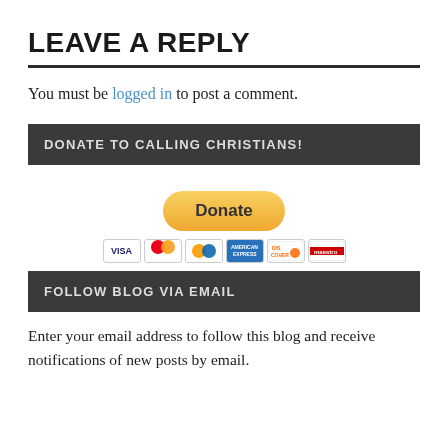LEAVE A REPLY
You must be logged in to post a comment.
DONATE TO CALLING CHRISTIANS!
[Figure (other): PayPal Donate button with credit card icons (Visa, Mastercard, PayPal, American Express, Discover, Maestro)]
FOLLOW BLOG VIA EMAIL
Enter your email address to follow this blog and receive notifications of new posts by email.